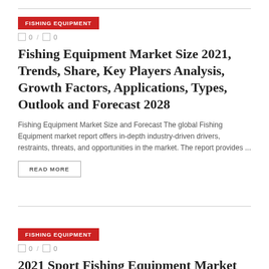FISHING EQUIPMENT
0 / 0
Fishing Equipment Market Size 2021, Trends, Share, Key Players Analysis, Growth Factors, Applications, Types, Outlook and Forecast 2028
Fishing Equipment Market Size and Forecast The global Fishing Equipment market report offers in-depth industry-driven drivers, restraints, threats, and opportunities in the market. The report provides ...
READ MORE
FISHING EQUIPMENT
0 / 0
2021 Sport Fishing Equipment Market Size, Trends, Share, Key Players Analysis, Growth Factors,